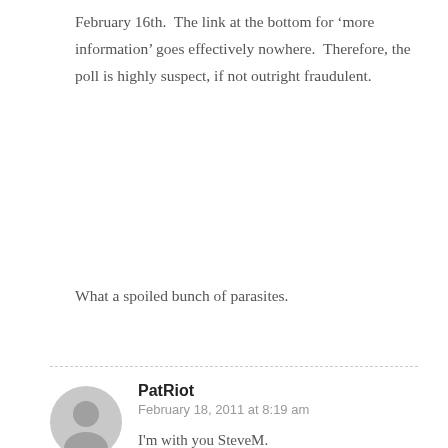February 16th.  The link at the bottom for 'more information' goes effectively nowhere.  Therefore, the poll is highly suspect, if not outright fraudulent.
What a spoiled bunch of parasites.
PatRiot
February 18, 2011 at 8:19 am
I'm with you SteveM.
And the T.E.A. Party protesting had a positive effect for the American people.  It is starting to get our elected officials back in line with representing us Americans